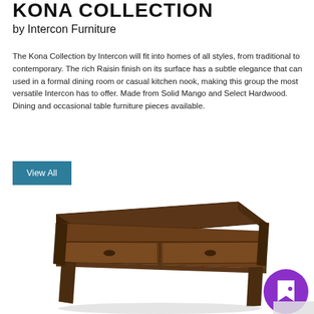KONA COLLECTION
by Intercon Furniture
The Kona Collection by Intercon will fit into homes of all styles, from traditional to contemporary. The rich Raisin finish on its surface has a subtle elegance that can used in a formal dining room or casual kitchen nook, making this group the most versatile Intercon has to offer. Made from Solid Mango and Select Hardwood. Dining and occasional table furniture pieces available.
View All
[Figure (photo): A dark brown wooden coffee table with two drawers on the front, four tapered legs, viewed in 3/4 perspective against a white background. A purple circular icon with a bookmark/quote symbol appears in the bottom right corner.]